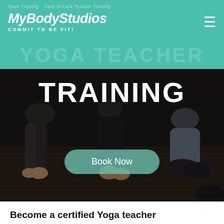Team Training  Face to Face Teacher Training
MyBodyStudios — COMMIT TO BE FIT!
TRAINING
[Figure (photo): Photo of multiple people practicing yoga on a wooden floor, dark-toned studio setting, with overlay text 'YOGA TEACHER' watermark and a 'Book Now' button]
Become a certified Yoga teacher
This 200 hour Yoga Teacher Training course held at our Sunderland studio is spread over